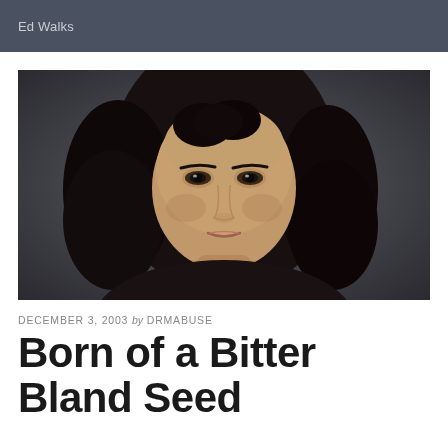Ed Walks
[Figure (photo): Portrait photograph of a middle-aged woman with dark curly hair, looking directly at the camera against a dark grey background]
DECEMBER 3, 2003 by DRMABUSE
Born of a Bitter Bland Seed